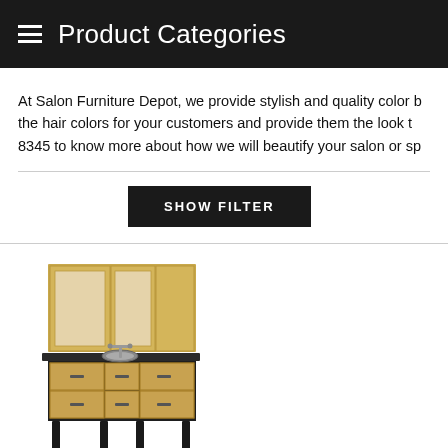Product Categories
At Salon Furniture Depot, we provide stylish and quality color b... the hair colors for your customers and provide them the look t... 8345 to know more about how we will beautify your salon or sp...
SHOW FILTER
[Figure (photo): A salon color bar / mixing station cabinet with upper cabinets featuring frosted glass doors in a light maple/birch finish and a lower cabinet unit with dark countertop containing a sink, all on dark legs.]